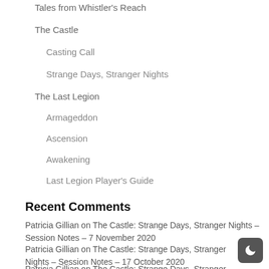Tales from Whistler's Reach
The Castle
Casting Call
Strange Days, Stranger Nights
The Last Legion
Armageddon
Ascension
Awakening
Last Legion Player's Guide
Recent Comments
Patricia Gillian on The Castle: Strange Days, Stranger Nights – Session Notes – 7 November 2020
Patricia Gillian on The Castle: Strange Days, Stranger Nights – Session Notes – 17 October 2020
Patricia Gillian on The Castle: Strange Days, Stranger